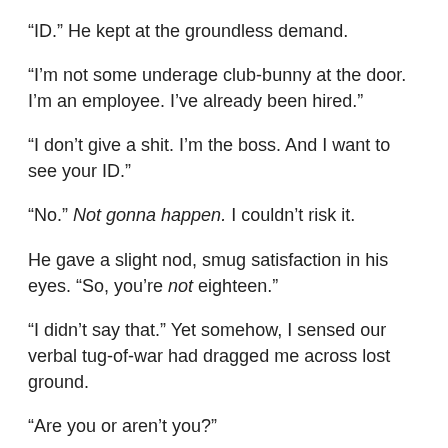“ID.” He kept at the groundless demand.
“I’m not some underage club-bunny at the door. I’m an employee. I’ve already been hired.”
“I don’t give a shit. I’m the boss. And I want to see your ID.”
“No.” Not gonna happen. I couldn’t risk it.
He gave a slight nod, smug satisfaction in his eyes. “So, you’re not eighteen.”
“I didn’t say that.” Yet somehow, I sensed our verbal tug-of-war had dragged me across lost ground.
“Are you or aren’t you?”
“I am,” I gritted out, angry that I’d been foolish enough to